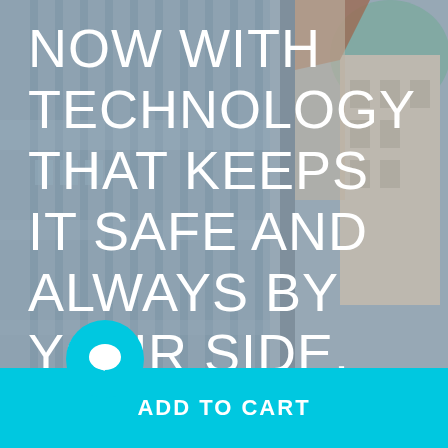[Figure (photo): Blurred urban background with modern glass-paneled building facade on the left and older European-style buildings with a green dome on the right]
NOW WITH TECHNOLOGY THAT KEEPS IT SAFE AND ALWAYS BY YOUR SIDE.
ADD TO CART